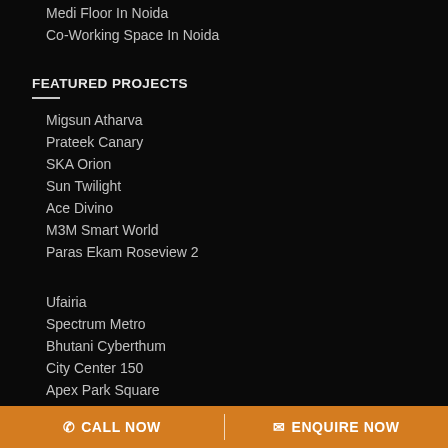Medi Floor In Noida
Co-Working Space In Noida
FEATURED PROJECTS
Migsun Atharva
Prateek Canary
SKA Orion
Sun Twilight
Ace Divino
M3M Smart World
Paras Ekam Roseview 2
Ufairia
Spectrum Metro
Bhutani Cyberthum
City Center 150
Apex Park Square
CALL NOW   ENQUIRE NOW